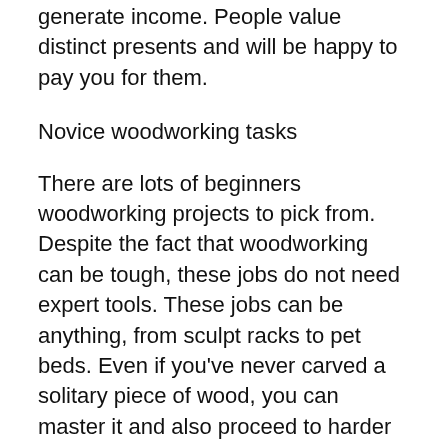generate income. People value distinct presents and will be happy to pay you for them.
Novice woodworking tasks
There are lots of beginners woodworking projects to pick from. Despite the fact that woodworking can be tough, these jobs do not need expert tools. These jobs can be anything, from sculpt racks to pet beds. Even if you've never carved a solitary piece of wood, you can master it and also proceed to harder woodworking projects in time. Furthermore, beginners will get confidence as well as experience via these woodworking projects and will certainly be able to deal with more difficult tasks in the future.